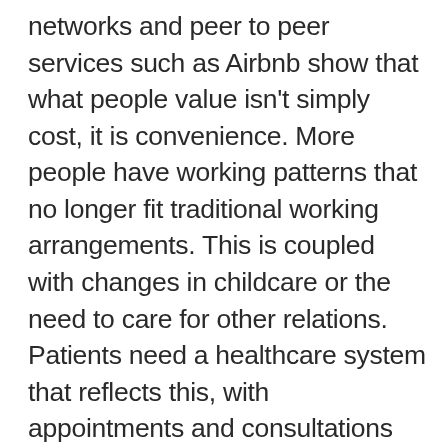networks and peer to peer services such as Airbnb show that what people value isn't simply cost, it is convenience. More people have working patterns that no longer fit traditional working arrangements. This is coupled with changes in childcare or the need to care for other relations. Patients need a healthcare system that reflects this, with appointments and consultations being delivered when patients want, rather than when it suits the healthcare system. The healthcare system needs to move from traditional hospital-led delivery to more local, flexible services. In eyecare this means making greater use of optical practices in the community.  As elsewhere, it is vital that the